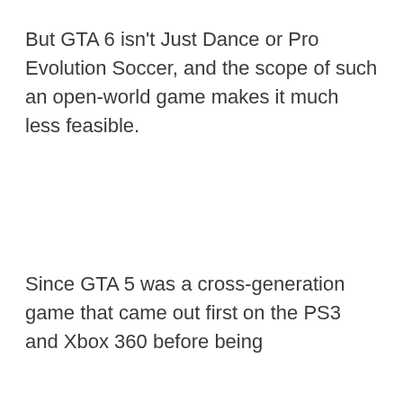But GTA 6 isn't Just Dance or Pro Evolution Soccer, and the scope of such an open-world game makes it much less feasible.
Since GTA 5 was a cross-generation game that came out first on the PS3 and Xbox 360 before being